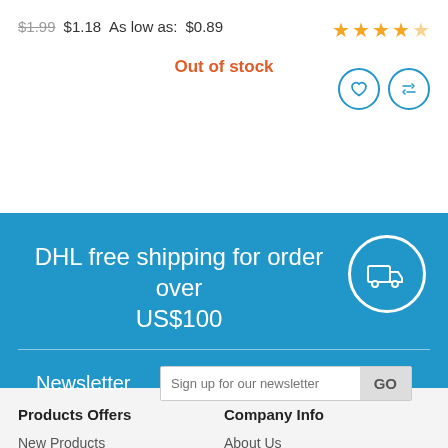$1.99 $1.18 As low as: $0.89
[Figure (other): 5-star rating (4.5 stars shown in gold)]
Out of stock
[Figure (other): Heart icon (wishlist) and shuffle/compare icon, both in blue circle outlines]
DHL free shipping for order over US$100
[Figure (other): Truck/delivery icon in white circle outline on blue background]
Newsletter
Sign up for our newsletter  GO
Products Offers
Company Info
New Products
About Us